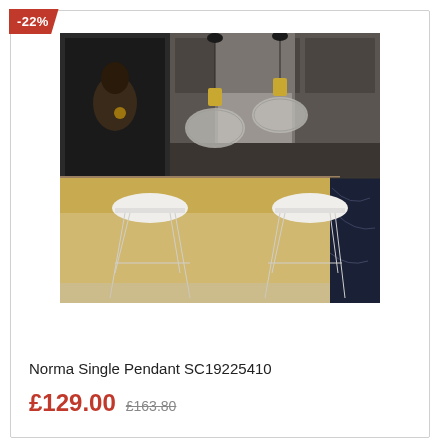[Figure (photo): Two Norma Single Pendant lights hanging in a modern kitchen with dark cabinetry, marble countertop, and white bar stools. The pendants have smoked glass globe shades with brass fittings.]
Norma Single Pendant SC19225410
£129.00 £163.80